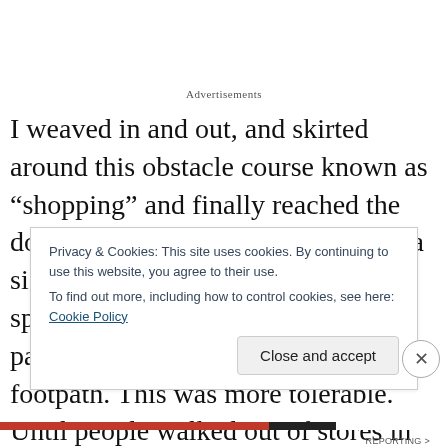Advertisements
I weaved in and out, and skirted around this obstacle course known as “shopping” and finally reached the door to the street. There, I breathed a sigh of relief that I had a metre of space in front of me. I fell into the pace of the pedestrians on the footpath. This was more tolerable. Until people walked out of stores in front of me, turned in my direction but kept talking to people behind them. Not
Privacy & Cookies: This site uses cookies. By continuing to use this website, you agree to their use.
To find out more, including how to control cookies, see here: Cookie Policy
Close and accept